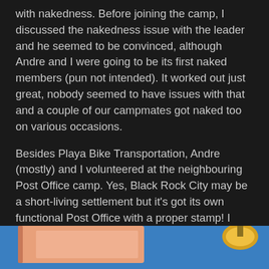with nakedness. Before joining the camp, I discussed the nakedness issue with the leader and he seemed to be convinced, although Andre and I were going to be its first naked members (pun not intended). It worked out just great, nobody seemed to have issues with that and a couple of our campmates got naked too on various occasions.
Besides Playa Bike Transportation, Andre (mostly) and I volunteered at the neighbouring Post Office camp. Yes, Black Rock City may be a short-living settlement but it’s got its own functional Post Office with a proper stamp! I tried my best to be the least friendly possible mocking the stereotype of a USPS worker, but Andre was much better at it and soon became known as an ‘angry postman’.
[Figure (photo): Partial photo showing what appears to be an outdoor scene with blue sky and a lamp or light fixture on the right side, and a pinkish/orange object on the left, cropped at bottom of page.]